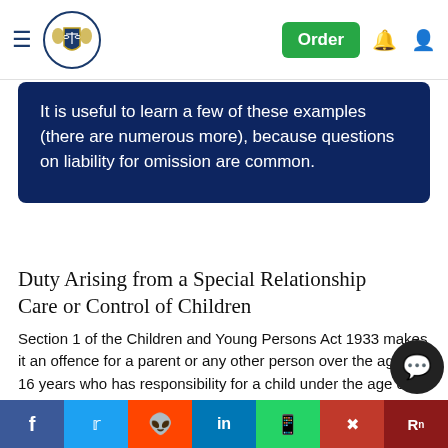Navigation bar with hamburger menu, logo, Order button, bell icon, and user icon
It is useful to learn a few of these examples (there are numerous more), because questions on liability for omission are common.
Duty Arising from a Special Relationship
Care or Control of Children
Section 1 of the Children and Young Persons Act 1933 makes it an offence for a parent or any other person over the age of 16 years who has responsibility for a child under the age of 16 years to wilfully neglect the child. This specifically includes failing to provide adequate food, clothing or medical care. Whilst this is a statutory pro and could easily fall within the previous section, it has to liability t a u x s c of the Act. Under this i s e li it r fail to
Social share bar: Facebook, Twitter, Reddit, LinkedIn, WhatsApp, Mix, ResearchGate